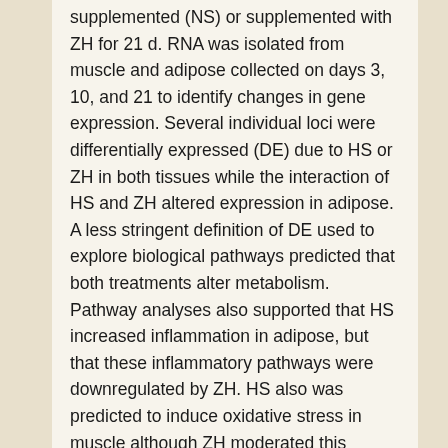supplemented (NS) or supplemented with ZH for 21 d. RNA was isolated from muscle and adipose collected on days 3, 10, and 21 to identify changes in gene expression. Several individual loci were differentially expressed (DE) due to HS or ZH in both tissues while the interaction of HS and ZH altered expression in adipose. A less stringent definition of DE used to explore biological pathways predicted that both treatments alter metabolism. Pathway analyses also supported that HS increased inflammation in adipose, but that these inflammatory pathways were downregulated by ZH. HS also was predicted to induce oxidative stress in muscle although ZH moderated this response. This study provides information on how HS and β-AA act independently and interact to alter physiology, lending insight useful for the development of management and mitigation strategies for stress.